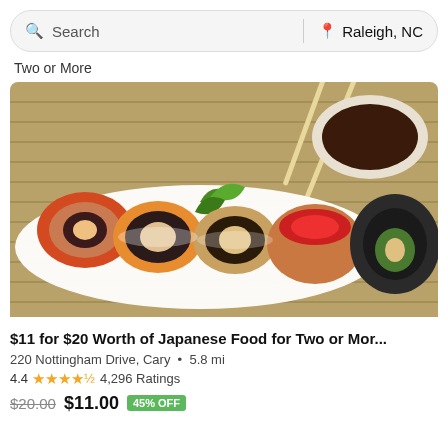Search | Raleigh, NC
Two or More
[Figure (photo): Assorted sushi rolls on a white plate with a dipping bowl of soy sauce and chopsticks on a bamboo mat background]
$11 for $20 Worth of Japanese Food for Two or Mor...
220 Nottingham Drive, Cary • 5.8 mi
4.4 ★★★★½ 4,296 Ratings
$20.00 $11.00 45% OFF